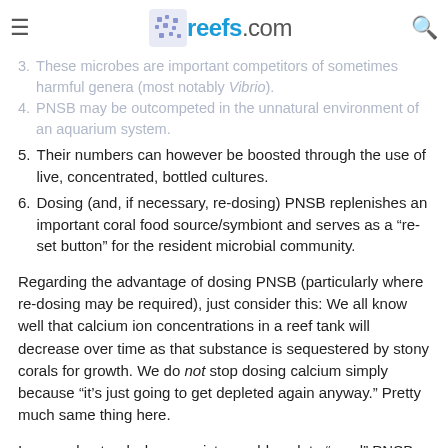reefs.com
3. These microbes are important competitors of sometimes harmful genera (most notably Vibrio).
4. PNSB may be outcompeted in the unnatural environment of an aquarium system.
5. Their numbers can however be boosted through the use of live, concentrated, bottled cultures.
6. Dosing (and, if necessary, re-dosing) PNSB replenishes an important coral food source/symbiont and serves as a “re-set button” for the resident microbial community.
Regarding the advantage of dosing PNSB (particularly where re-dosing may be required), just consider this: We all know well that calcium ion concentrations in a reef tank will decrease over time as that substance is sequestered by stony corals for growth. We do not stop dosing calcium simply because “it’s just going to get depleted again anyway.” Pretty much same thing here.
I can understand why aquarists would seek to “seed” PNSB, much in same way as they do nitrifying bacteria, copepods, etc. Having an established population would reduce both the expense of product as well as the task of regular dosing. This is